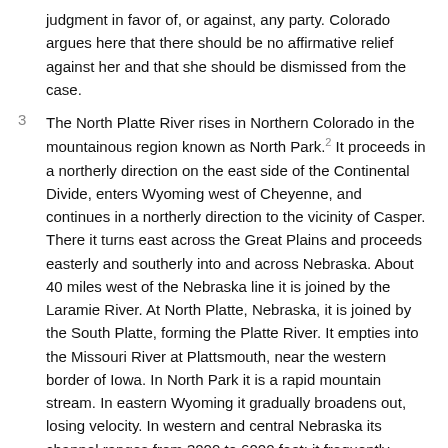judgment in favor of, or against, any party. Colorado argues here that there should be no affirmative relief against her and that she should be dismissed from the case.
3   The North Platte River rises in Northern Colorado in the mountainous region known as North Park.² It proceeds in a northerly direction on the east side of the Continental Divide, enters Wyoming west of Cheyenne, and continues in a northerly direction to the vicinity of Casper. There it turns east across the Great Plains and proceeds easterly and southerly into and across Nebraska. About 40 miles west of the Nebraska line it is joined by the Laramie River. At North Platte, Nebraska, it is joined by the South Platte, forming the Platte River. It empties into the Missouri River at Plattsmouth, near the western border of Iowa. In North Park it is a rapid mountain stream. In eastern Wyoming it gradually broadens out, losing velocity. In western and central Nebraska its channel ranges from 3000 to 6000 feet; it frequently divides into small channels; and in times of low water is lost in the deep sands of its bed. Here it is sometimes characterized as a river 'two miles wide and one inch deep.'
4   There are six natural sections of the river basin: (1) North Park,